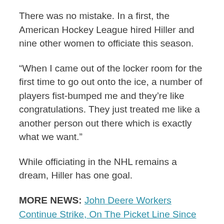There was no mistake. In a first, the American Hockey League hired Hiller and nine other women to officiate this season.
“When I came out of the locker room for the first time to go out onto the ice, a number of players fist-bumped me and they’re like congratulations. They just treated me like a another person out there which is exactly what we want.”
While officiating in the NHL remains a dream, Hiller has one goal.
MORE NEWS: John Deere Workers Continue Strike, On The Picket Line Since October
“I don’t want to be the best woman official. I want to be